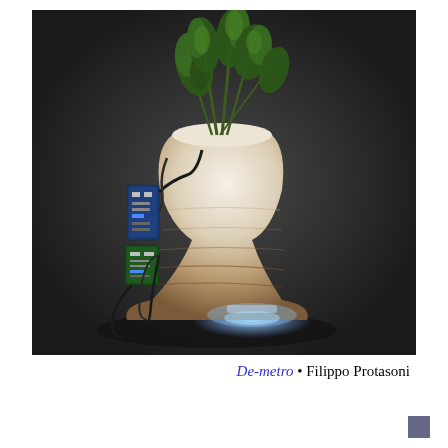[Figure (photo): A marble-textured plant pot containing a rosemary plant, with an Arduino/electronics board attached to its left side with cables, glowing blue LED light at the base, on a dark background.]
De-metro • Filippo Protasoni